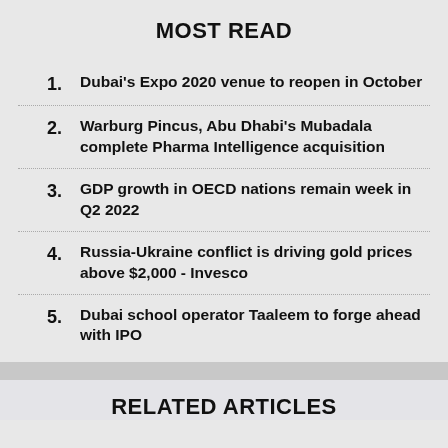MOST READ
1. Dubai's Expo 2020 venue to reopen in October
2. Warburg Pincus, Abu Dhabi's Mubadala complete Pharma Intelligence acquisition
3. GDP growth in OECD nations remain week in Q2 2022
4. Russia-Ukraine conflict is driving gold prices above $2,000 - Invesco
5. Dubai school operator Taaleem to forge ahead with IPO
RELATED ARTICLES